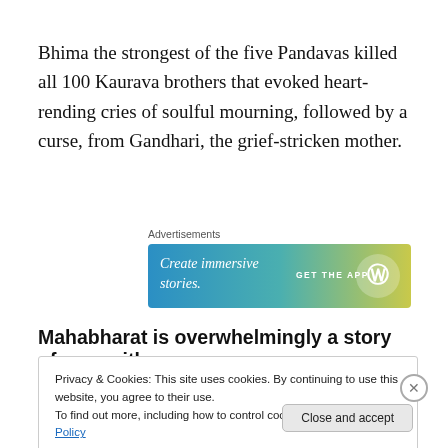Bhima the strongest of the five Pandavas killed all 100 Kaurava brothers that evoked heart-rending cries of soulful mourning, followed by a curse, from Gandhari, the grief-stricken mother.
[Figure (other): WordPress advertisement banner with gradient background (blue to yellow-green) showing 'Create immersive stories.' and 'GET THE APP' with WordPress logo]
Mahabharat is overwhelmingly a story of men with
Privacy & Cookies: This site uses cookies. By continuing to use this website, you agree to their use.
To find out more, including how to control cookies, see here: Cookie Policy